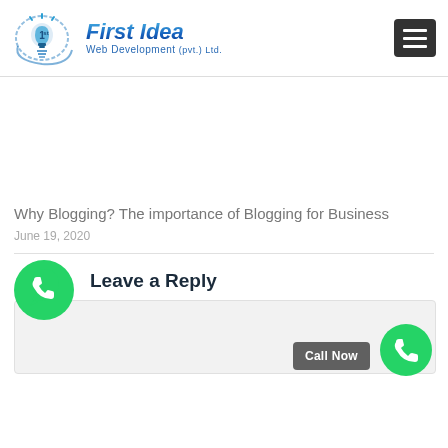First Idea Web Development (pvt.) Ltd.
[Figure (logo): First Idea Web Development (pvt.) Ltd. logo with lightbulb and '1st' graphic, plus hamburger menu button]
[Figure (other): Advertisement/banner space (blank white area)]
Why Blogging? The importance of Blogging for Business
June 19, 2020
Leave a Reply
[Figure (screenshot): Comment reply text area (light gray input box), WhatsApp floating button (green circle with phone icon), Call Now button (gray rectangle), and green phone circle button at bottom right]